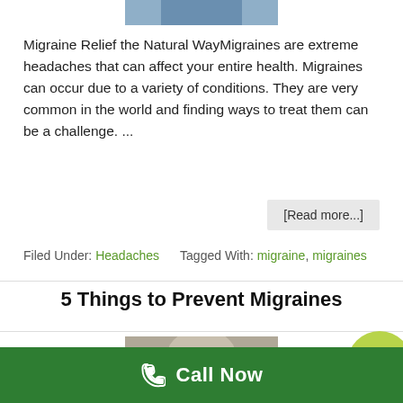[Figure (photo): Partial photo of a person at top of page]
Migraine Relief the Natural WayMigraines are extreme headaches that can affect your entire health. Migraines can occur due to a variety of conditions. They are very common in the world and finding ways to treat them can be a challenge. ...
[Read more...]
Filed Under: Headaches   Tagged With: migraine, migraines
5 Things to Prevent Migraines
[Figure (photo): Partial photo of a person at bottom of page]
Call Now